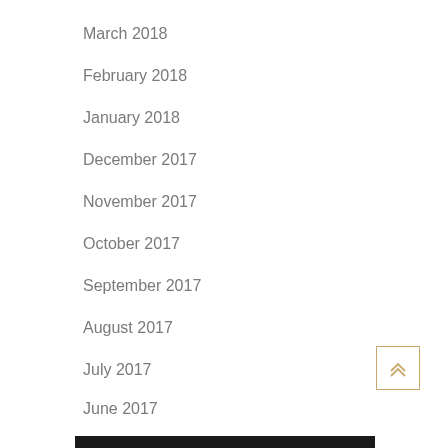March 2018
February 2018
January 2018
December 2017
November 2017
October 2017
September 2017
August 2017
July 2017
June 2017